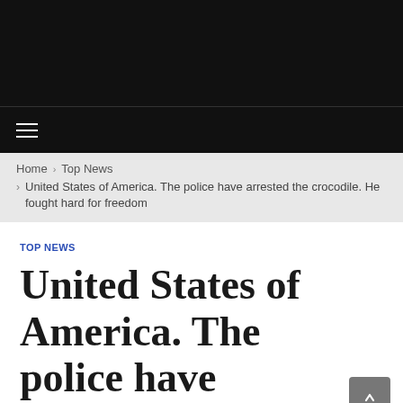≡
Home › Top News > United States of America. The police have arrested the crocodile. He fought hard for freedom
TOP NEWS
United States of America. The police have arrested the crocodile. He fought